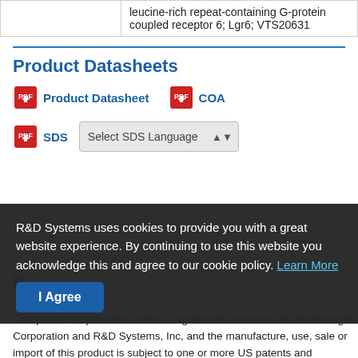|  |  |
| --- | --- |
|  | leucine-rich repeat-containing G-protein coupled receptor 6; Lgr6; VTS20631 |
Product Datasheets
Product Datasheet   COA
SDS   Select SDS Language
R&D Systems uses cookies to provide you with a great website experience. By continuing to use this website you acknowledge this and agree to our cookie policy. Learn More
I Agree
This product is provided under an agreement between Life Technologies Corporation and R&D Systems, Inc, and the manufacture, use, sale or import of this product is subject to one or more US patents and corresponding non-US equivalents, owned by Life Technologies Corporation and its affiliates. The purchase of this product conveys to the buyer the non-transferable right to use the purchased amount of the product and components of the